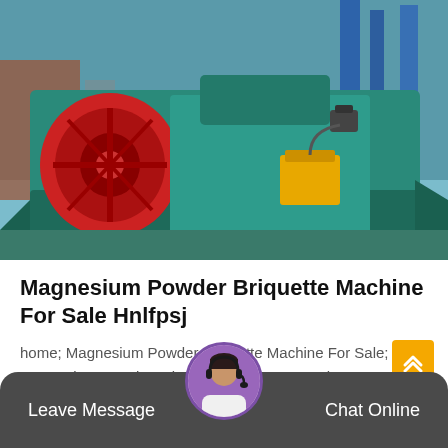[Figure (photo): A large teal/green industrial magnesium powder briquette machine in a factory setting. The machine features red rollers on the left side, a yellow hydraulic unit in the middle, and blue steel framework in the background.]
Magnesium Powder Briquette Machine For Sale Hnlfpsj
home; Magnesium Powder Briquette Machine For Sale; Magnesium Powder Briquette Machine For Sale. As a powerful mining equipment company, it can carry out...
Leave Message
Chat Online